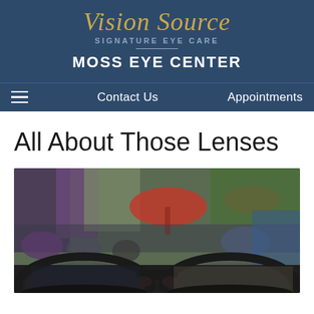[Figure (logo): Vision Source Signature Eye Care logo in gold italic script with subtitle in grey letters, on dark blue background]
MOSS EYE CENTER
Contact Us | Appointments (navigation bar with hamburger menu)
All About Those Lenses
[Figure (photo): Close-up of dark-framed eyeglasses in foreground with blurred crowd scene in background showing colorful umbrellas and people]